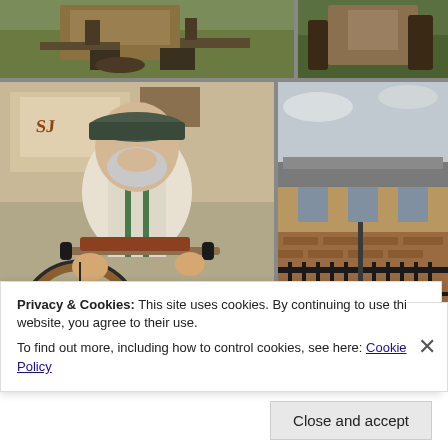[Figure (photo): Top-left photo: person seated outdoors on grass with wooden tools/equipment on a table, vintage setting]
[Figure (photo): Top-right photo: person outdoors near a tree and wooden equipment, green grass background]
[Figure (photo): Bottom-left photo: elderly man with white beard wearing flat cap and suspenders, leaning over handlebars of an old-style bicycle]
[Figure (photo): Bottom-right photo: historic brick and stone building with iron fence and white picket fence, overcast sky]
Privacy & Cookies: This site uses cookies. By continuing to use this website, you agree to their use.
To find out more, including how to control cookies, see here: Cookie Policy
Close and accept